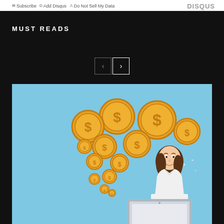Subscribe  Add Disqus  Do Not Sell My Data   DISQUS
Must Reads
[Figure (illustration): Navigation buttons with left arrow and right arrow for a Must Reads carousel]
[Figure (illustration): Illustration of a woman working on a laptop with gold dollar-sign coins floating above, on a light blue background]